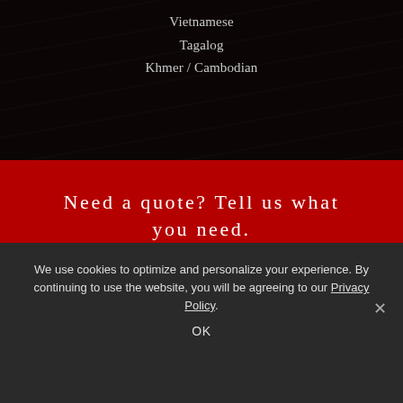Vietnamese
Tagalog
Khmer / Cambodian
Need a quote? Tell us what you need.
Quote
We use cookies to optimize and personalize your experience. By continuing to use the website, you will be agreeing to our Privacy Policy.
OK